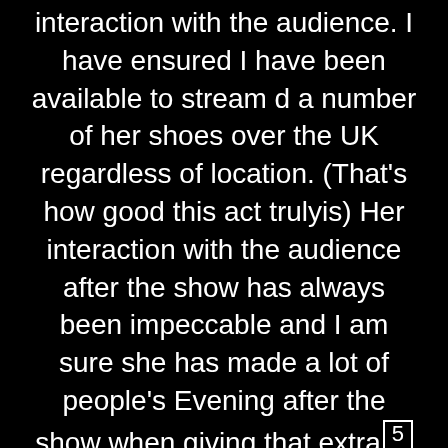interaction with the audience. I have ensured I have been available to stream d a number of her shoes over the UK regardless of location. (That's how good this act trulyis) Her interaction with the audience after the show has always been impeccable and I am sure she has made a lot of people's Evening after the show when giving that extra 5 minutes to talk and engage with them when photos are being taken. The band and backing